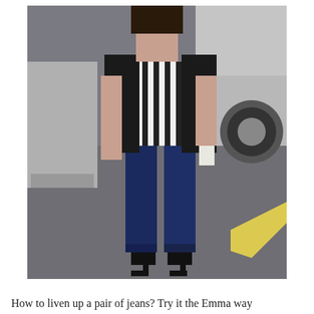[Figure (photo): A woman wearing dark blue skinny jeans with cuffed ankles, black high heel pumps, a black leather jacket, and a black-and-white striped blouse, standing on a street pavement next to a silver car.]
How to liven up a pair of jeans? Try it the Emma way